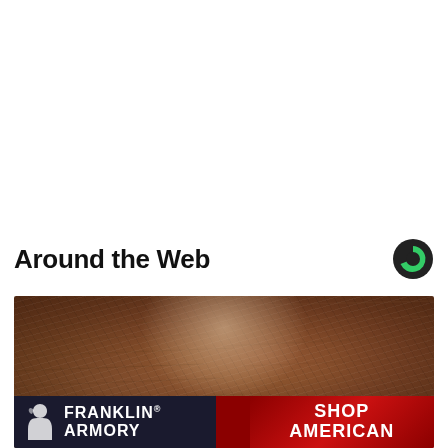Around the Web
[Figure (logo): Taboola logo — dark circle with green triangle cutout]
[Figure (photo): Close-up photo of aged human skin showing wrinkles and texture, with a Franklin Armory 'Shop American' advertisement banner overlaid at the bottom]